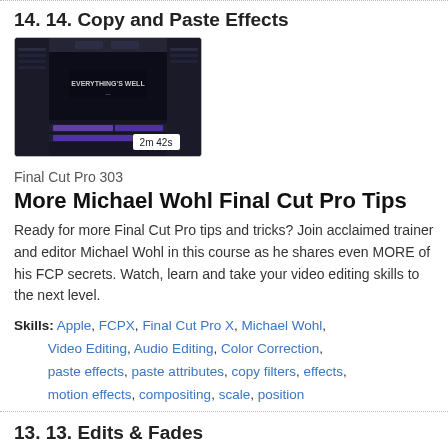14. 14. Copy and Paste Effects
[Figure (screenshot): Video thumbnail showing Final Cut Pro interface with dark theme, video preview area showing 'EVERYTHING'S WELL' text, duration stamp '2m 42s']
Final Cut Pro 303
More Michael Wohl Final Cut Pro Tips
Ready for more Final Cut Pro tips and tricks? Join acclaimed trainer and editor Michael Wohl in this course as he shares even MORE of his FCP secrets. Watch, learn and take your video editing skills to the next level.
Skills: Apple, FCPX, Final Cut Pro X, Michael Wohl, Video Editing, Audio Editing, Color Correction, paste effects, paste attributes, copy filters, effects, motion effects, compositing, scale, position
13. 13. Edits & Fades
[Figure (screenshot): Video thumbnail showing Final Cut Pro interface with dark theme, partial view]